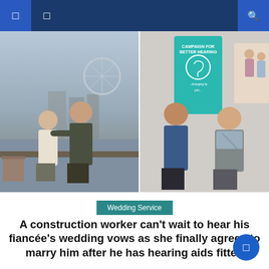[Figure (photo): Two side-by-side photos: left shows a couple (woman and man) standing by the Thames with the London Eye in background; right shows a man in blue shirt and woman with scarf standing in front of a 'Campaign for Better Hearing' banner.]
Wedding Service
A construction worker can’t wait to hear his fiancée’s wedding vows as she finally agrees to marry him after he has hearing aids fitted
It was music to the ears of a construction worker whose fiancee finally agreed to marry because she had refused to